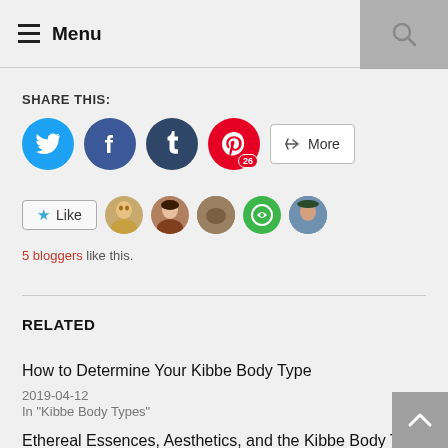Menu
SHARE THIS:
[Figure (other): Social share buttons: Twitter, Facebook, Tumblr, Pinterest (26), More]
[Figure (other): Like button with star icon and 5 blogger avatars]
5 bloggers like this.
RELATED
How to Determine Your Kibbe Body Type
2019-04-12
In "Kibbe Body Types"
Ethereal Essences, Aesthetics, and the Kibbe Body Types